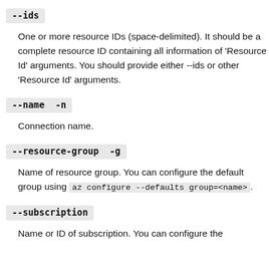--ids
One or more resource IDs (space-delimited). It should be a complete resource ID containing all information of 'Resource Id' arguments. You should provide either --ids or other 'Resource Id' arguments.
--name  -n
Connection name.
--resource-group  -g
Name of resource group. You can configure the default group using az configure --defaults group=<name>.
--subscription
Name or ID of subscription. You can configure the